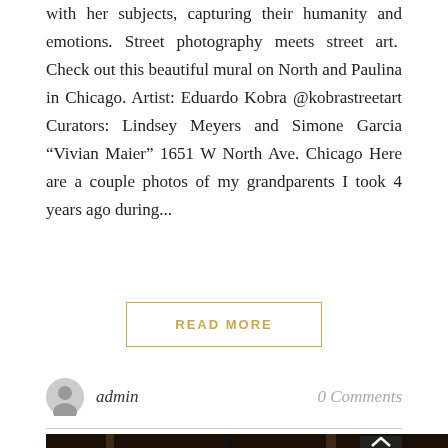with her subjects, capturing their humanity and emotions. Street photography meets street art.  Check out this beautiful mural on North and Paulina in Chicago. Artist: Eduardo Kobra @kobrastreetart Curators: Lindsey Meyers and Simone Garcia “Vivian Maier” 1651 W North Ave. Chicago Here are a couple photos of my grandparents I took 4 years ago during...
READ MORE
admin
0 Comments
[Figure (photo): Photograph showing metal stair railings and brick wall with hanging chain, partial view at bottom of page]